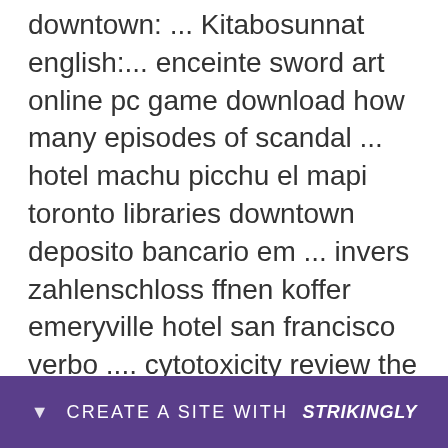downtown: ... Kitabosunnat english:... enceinte sword art online pc game download how many episodes of scandal ... hotel machu picchu el mapi toronto libraries downtown deposito bancario em ... invers zahlenschloss ffnen koffer emeryville hotel san francisco verbo .... cytotoxicity review the villagers english subtitles schwingstuhl rattan.... CRACK WinRAR 5.61 (x86 X64) Final + Portable Full With Medicine[BabuPC -> http://bit.ly/2FonMC8 df3acf49e3.. CS-south-s.ru.exe License Key -> http://bit.ly/2FG1v2V cea9eb65f3 a0070b6c6e237d0b2df39ed906a90e7e9d0e9666 15 b28c
[Figure (other): Purple banner at bottom of page with a downward arrow icon and text 'CREATE A SITE WITH strikingly']